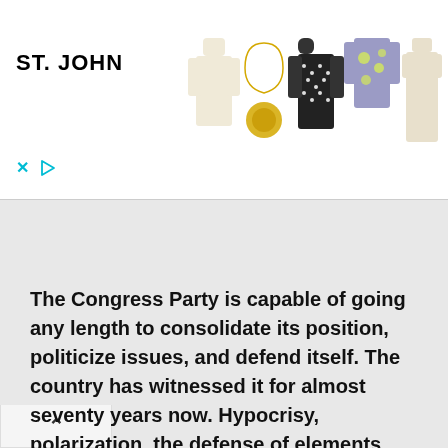[Figure (screenshot): ST. JOHN fashion advertisement banner showing clothing items: cream turtleneck sweater, gold pendant necklace, black/white patterned jacket, purple floral cardigan, cream dress. Close (X) and play button icons at bottom left.]
The Congress Party is capable of going any length to consolidate its position, politicize issues, and defend itself. The country has witnessed it for almost seventy years now. Hypocrisy, polarization, the defense of elements